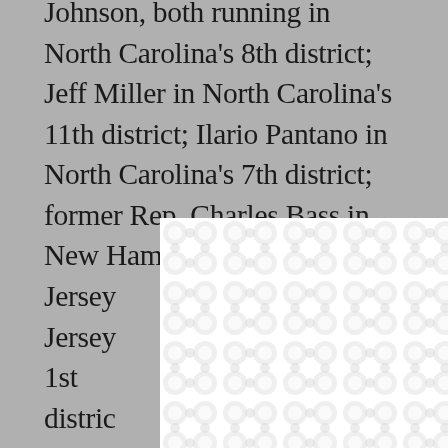Johnson, both running in North Carolina's 8th district; Jeff Miller in North Carolina's 11th district; Ilario Pantano in North Carolina's 7th district; former Rep. Charles Bass in New Hampshire's 2nd district; Leonard Lance in New Jersey's 7th district; Jon Runyan in New Jersey's 3rd district; Frank LoBiondo in New Jersey's 1st district; Scott Garrett in New Jersey's 5th district; Ann Marie Buerkle in New York's 25th district; Doug Hoffman, Chris Lee, Richard Hanna, running in New York's 29th, 26th and 22nd districts; Michael Huber, Jim Russell, and George Phillips, running in New York's 18th, 19th and 20th district; district; Dave Argall in Pennsylvania's 17th district; Bert Mizusawa in Virginia's 2nd district; Pat Herrity in Virginia's 11th district; John Koster in Washington's 2nd district; Jaime Herrera in
[Figure (other): White modal overlay with decorative bubble/pebble pattern background (light gray circles on white), with an X close button in the top right corner]